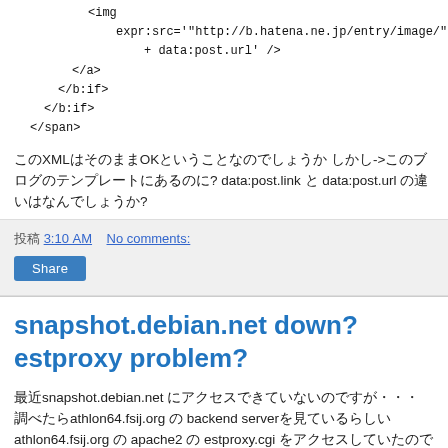<img
    expr:src='"http://b.hatena.ne.jp/entry/image/"
          + data:post.url' />
  </a>
  </b:if>
</b:if>
</span>
このXMLはそのままOKということなのでしょうか しかし->このブログのテンプレートにあるのに? data:post.link と data:post.url の違いはなんでしょうか?
投稿日時 3:10 AM   No comments:
Share
snapshot.debian.net down? estproxy problem?
最近snapshot.debian.net にアクセスできていないのですが・・・ 調べたらathlon64.fsij.org の backend serverを見ているらしいathlon64.fsij.org の apache2 の estproxy.cgi をアクセスしていたのですが・・・? apache2 の restart したのに.